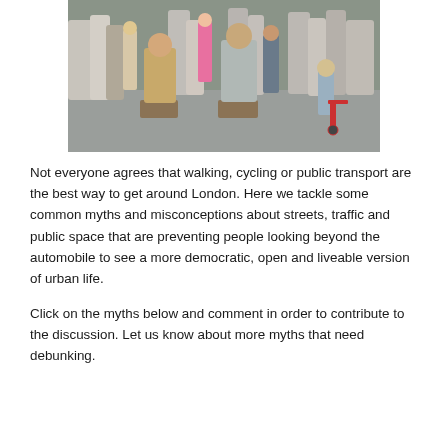[Figure (photo): Outdoor street scene with a crowd of people; two people in the foreground are standing on wooden crates/boxes in what appears to be a pedestrianised street event. A child with a red scooter is visible on the right.]
Not everyone agrees that walking, cycling or public transport are the best way to get around London. Here we tackle some common myths and misconceptions about streets, traffic and public space that are preventing people looking beyond the automobile to see a more democratic, open and liveable version of urban life.
Click on the myths below and comment in order to contribute to the discussion. Let us know about more myths that need debunking.